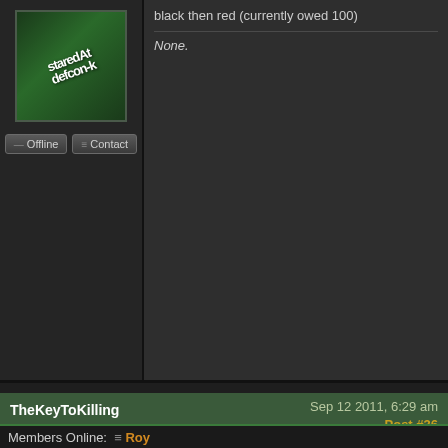black then red (currently owed 100)
None.
TheKeyToKilling  Sep 12 2011, 6:29 am  Post #36
[Figure (screenshot): Forum avatar with stylized text on green background]
Quote from DevliN: I get why you keep posting new posts, but this
quiet... i'm having fun LOL
None.
Members Online:  Roy